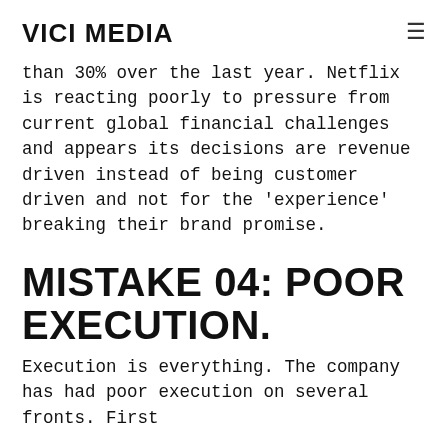VICI MEDIA
than 30% over the last year. Netflix is reacting poorly to pressure from current global financial challenges and appears its decisions are revenue driven instead of being customer driven and not for the 'experience' breaking their brand promise.
MISTAKE 04: POOR EXECUTION.
Execution is everything. The company has had poor execution on several fronts. First